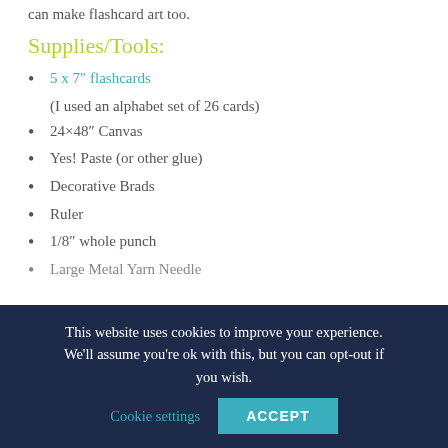can make flashcard art too.
Supplies/Tools:
5 x 7″ flashcards (I used an alphabet set of 26 cards)
24×48″ Canvas
Yes! Paste (or other glue)
Decorative Brads
Ruler
1/8″ whole punch
Large Metal Yarn Needle
This website uses cookies to improve your experience. We'll assume you're ok with this, but you can opt-out if you wish.
Cookie settings
ACCEPT